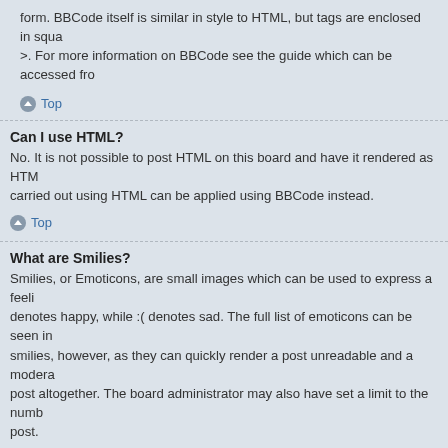form. BBCode itself is similar in style to HTML, but tags are enclosed in square brackets [ and ] rather than < and >. For more information on BBCode see the guide which can be accessed from
Top
Can I use HTML?
No. It is not possible to post HTML on this board and have it rendered as HTML. Most formatting which can be carried out using HTML can be applied using BBCode instead.
Top
What are Smilies?
Smilies, or Emoticons, are small images which can be used to express a feeling using a short code, e.g. :) denotes happy, while :( denotes sad. The full list of emoticons can be seen in the posting form. Try not to overuse smilies, however, as they can quickly render a post unreadable and a moderator may edit or remove your post altogether. The board administrator may also have set a limit to the number of smilies you may use within a post.
Top
Can I post images?
Yes, images can be shown in your posts. If the administrator has allowed attachments, you may be able to upload the image to the board. Otherwise, you must link to an image stored on a publicly accessible web server, e.g. http://www.example.com/my-picture.gif. You cannot link to pictures stored on your own PC (unless it is a publicly accessible server) nor images stored behind authentication mechanisms, e.g. hotmail or yahoo mailboxes, password protected sites, etc. To display the image use the BBCode [img] tag.